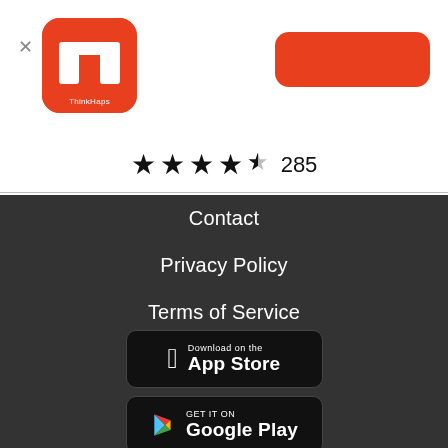[Figure (logo): ThinkHaps app logo: orange rounded square with white M-like icon and 'ThinkHaps' text below]
[Figure (other): Orange rounded rectangle button in top right corner]
★★★★½ 285
Contact
Privacy Policy
Terms of Service
[Figure (other): Download on the App Store badge]
[Figure (other): Get it on Google Play badge]